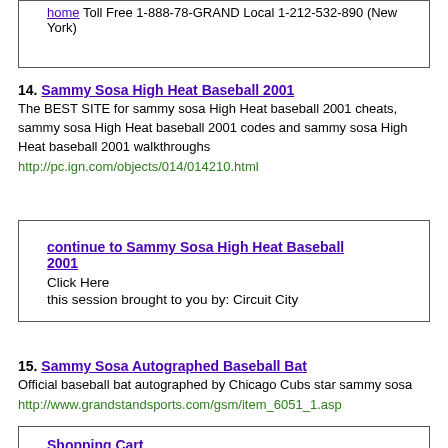home Toll Free 1-888-78-GRAND Local 1-212-532-890 (New York)
14. Sammy Sosa High Heat Baseball 2001
The BEST SITE for sammy sosa High Heat baseball 2001 cheats, sammy sosa High Heat baseball 2001 codes and sammy sosa High Heat baseball 2001 walkthroughs
http://pc.ign.com/objects/014/014210.html
continue to Sammy Sosa High Heat Baseball 2001
Click Here
this session brought to you by: Circuit City
15. Sammy Sosa Autographed Baseball Bat
Official baseball bat autographed by Chicago Cubs star sammy sosa
http://www.grandstandsports.com/gsm/item_6051_1.asp
Shopping Cart